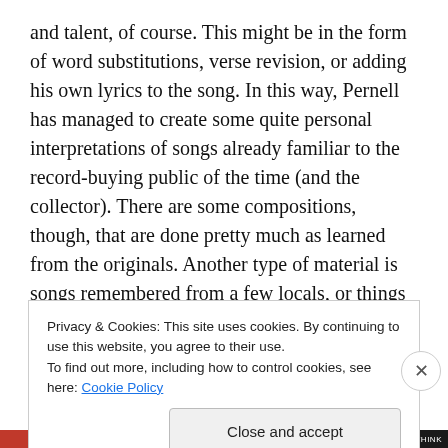and talent, of course. This might be in the form of word substitutions, verse revision, or adding his own lyrics to the song. In this way, Pernell has managed to create some quite personal interpretations of songs already familiar to the record-buying public of the time (and the collector). There are some compositions, though, that are done pretty much as learned from the originals. Another type of material is songs remembered from a few locals, or things he wrote himself . . . his repertoire is made up of copies, adaptations, and originals. The songs on this album include some from his major sources. Blind Boy Fuller was
Privacy & Cookies: This site uses cookies. By continuing to use this website, you agree to their use.
To find out more, including how to control cookies, see here: Cookie Policy
Close and accept